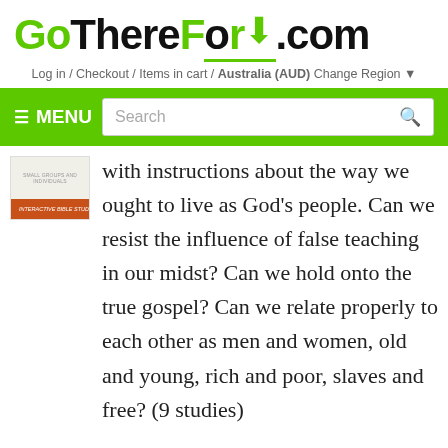[Figure (logo): GoThereFor.com logo with green 'Go' and 'For' text, black 'There' text, green down-arrow icon, and green underline]
Log in / Checkout / Items in cart / Australia (AUD) Change Region
≡ MENU  Search
[Figure (photo): Book thumbnail showing a small group study guide with orange/red cover]
with instructions about the way we ought to live as God's people. Can we resist the influence of false teaching in our midst? Can we hold onto the true gospel? Can we relate properly to each other as men and women, old and young, rich and poor, slaves and free? (9 studies)